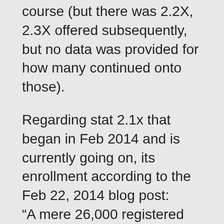course (but there was 2.2X, 2.3X offered subsequently, but no data was provided for how many continued onto those).
Regarding stat 2.1x that began in Feb 2014 and is currently going on, its enrollment according to the Feb 22, 2014 blog post: “A mere 26,000 registered students at the moment: intimate, compared to the almost 55,000 with which 2.1X ended up last year. ”
So half the number of enrollees this time around than last…conclusion: MOOCs are on the decline! haha,